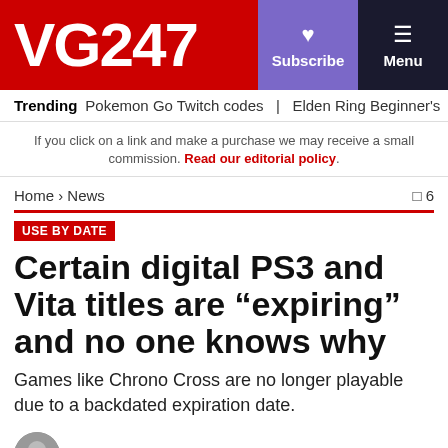VG247 | Subscribe | Menu
Trending  Pokemon Go Twitch codes  |  Elden Ring Beginner's
If you click on a link and make a purchase we may receive a small commission. Read our editorial policy.
Home > News  □ 6
USE BY DATE
Certain digital PS3 and Vita titles are "expiring" and no one knows why
Games like Chrono Cross are no longer playable due to a backdated expiration date.
News by Oisin Kuhnke